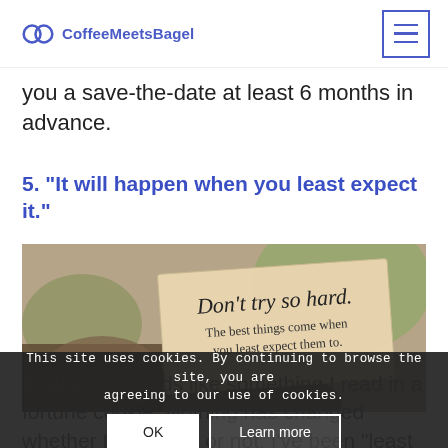CoffeeMeetsBagel
you a save-the-date at least 6 months in advance.
5. “It will happen when you least expect it.”
[Figure (photo): A fortune cookie card reading 'Don't try so hard. The best things come when you least expect them to.']
Really? It sounds like something I read in a fortune cookie. Nothing has changed whether I expected or not. I've been "least
This site uses cookies. By continuing to browse the site, you are agreeing to our use of cookies.